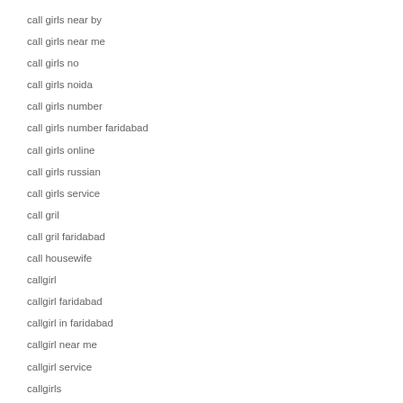call girls near by
call girls near me
call girls no
call girls noida
call girls number
call girls number faridabad
call girls online
call girls russian
call girls service
call gril
call gril faridabad
call housewife
callgirl
callgirl faridabad
callgirl in faridabad
callgirl near me
callgirl service
callgirls